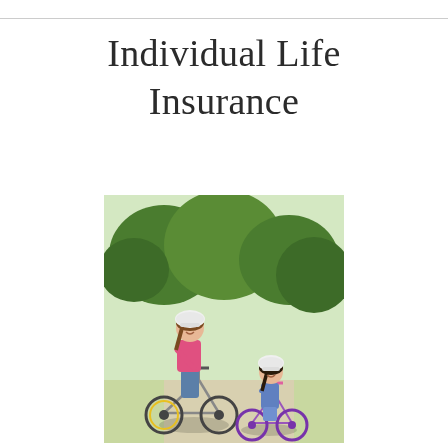Individual Life Insurance
[Figure (photo): A mother and daughter wearing white bicycle helmets, smiling outdoors, each on a bicycle. The mother wears a pink top and jeans; the daughter wears a denim jacket and shorts. Green trees in the background.]